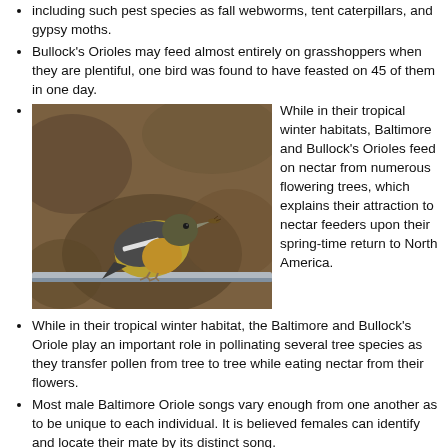including such pest species as fall webworms, tent caterpillars, and gypsy moths.
Bullock's Orioles may feed almost entirely on grasshoppers when they are plentiful, one bird was found to have feasted on 45 of them in one day.
While in their tropical winter habitats, Baltimore and Bullock's Orioles feed on nectar from numerous flowering trees, which explains their attraction to nectar feeders upon their spring-time return to North America.
[Figure (photo): A bird (likely a female Baltimore Oriole or Bullock's Oriole) perched on a metal railing, holding an insect in its beak. The bird has olive-yellow and dark gray/black plumage with white wing markings. Background is blurred brownish-green foliage.]
While in their tropical winter habitat, the Baltimore and Bullock's Oriole play an important role in pollinating several tree species as they transfer pollen from tree to tree while eating nectar from their flowers.
Most male Baltimore Oriole songs vary enough from one another as to be unique to each individual. It is believed females can identify and locate their mate by its distinct song.
The Oriole nest is an engineering masterpiece. They weave a hanging-basket nest with plant fibers, grasses, vine and tree bark and sometimes string or yarn placed out on the small twigs of a branch 6-45 feet in the air. This keeps them safe from most predators.
It takes as many as 12 days for an Oriole to weave its nest. One Baltimore Oriole was observed spending 40 hours building a nest with about 10,000 stitches and the tying of thousands of knots, all with its beak.
The female Baltimore Oriole builds her nest with little or no help from its mate. Only